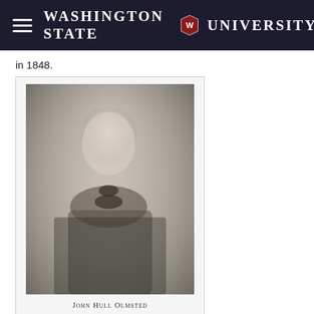Washington State University
in 1848.
[Figure (photo): Black and white portrait photograph of John Hull Olmsted, a young man in 19th century attire with a bow tie and jacket, with caption 'John Hull Olmsted' below.]
John Hull Olmsted
John Hull Olmsted (1825-1857). His medical